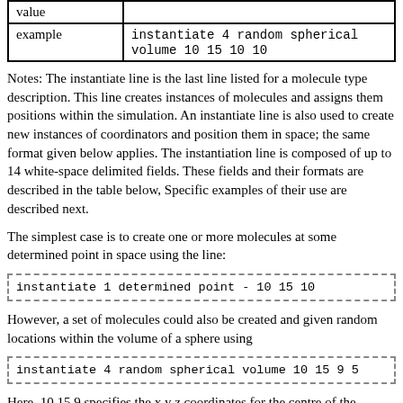| value |  |
| --- | --- |
| example | instantiate 4 random spherical volume 10 15 10 10 |
Notes: The instantiate line is the last line listed for a molecule type description. This line creates instances of molecules and assigns them positions within the simulation. An instantiate line is also used to create new instances of coordinators and position them in space; the same format given below applies. The instantiation line is composed of up to 14 white-space delimited fields. These fields and their formats are described in the table below, Specific examples of their use are described next.
The simplest case is to create one or more molecules at some determined point in space using the line:
However, a set of molecules could also be created and given random locations within the volume of a sphere using
Here, 10 15 9 specifies the x y z coordinates for the centre of the